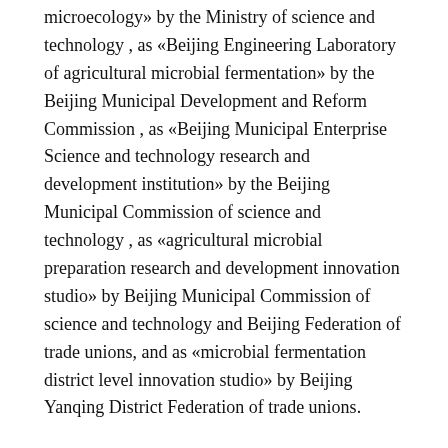microecology» by the Ministry of science and technology , as «Beijing Engineering Laboratory of agricultural microbial fermentation» by the Beijing Municipal Development and Reform Commission , as «Beijing Municipal Enterprise Science and technology research and development institution» by the Beijing Municipal Commission of science and technology , as «agricultural microbial preparation research and development innovation studio» by Beijing Municipal Commission of science and technology and Beijing Federation of trade unions, and as «microbial fermentation district level innovation studio» by Beijing Yanqing District Federation of trade unions.
The company's product research and development is based on the theory of «plant microecology».In 1980, Professor Chen Yanxi put forward the theory of «plant natural ecosystem», and in 1990, «plant microecology» was put forward by Professor Mei Ruhong.It provides a